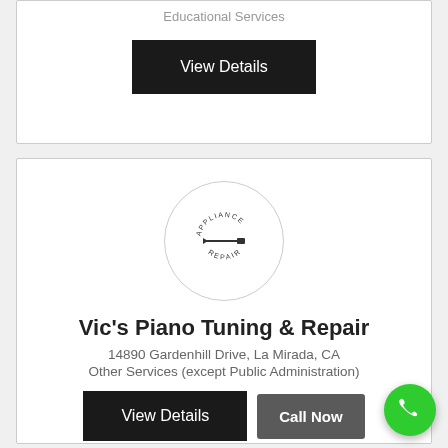Educational Services
View Details
[Figure (logo): Appliance Repair circular stamp logo with screwdriver icon]
Vic's Piano Tuning & Repair
14890 Gardenhill Drive, La Mirada, CA
Other Services (except Public Administration)
View Details
Call Now